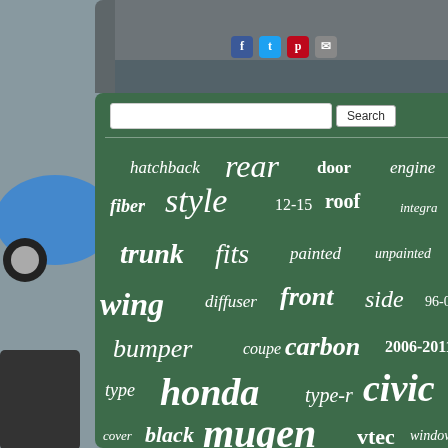[Figure (photo): Background photo of a blue Honda Civic and car parts on the sides]
[Figure (infographic): Word cloud on green background with automotive terms: hatchback, rear, door, engine, fiber, style, 12-15, roof, integra, trunk, fits, painted, unpainted, wing, diffuser, front, side, 96-00, bumper, coupe, carbon, 2006-2011, type, honda, type-r, civic, cover, black, mugen, vtec, window, spoiler, 06-11, skirts, sedan]